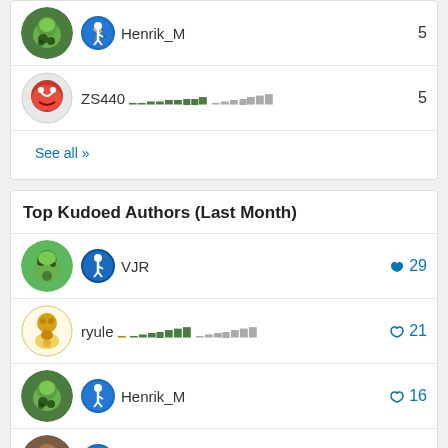Henrik_M 5
ZS440 5
See all >>
Top Kudoed Authors (Last Month)
VJR 29
ryule 21
Henrik_M 16
MichaelAnnis 13